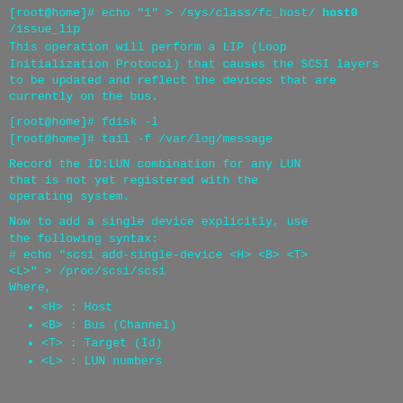[root@home]# echo "1" > /sys/class/fc_host/ host0/issue_lip
This operation will perform a LIP (Loop Initialization Protocol) that causes the SCSI layers to be updated and reflect the devices that are currently on the bus.
[root@home]# fdisk -l
[root@home]# tail -f /var/log/message
Record the ID:LUN combination for any LUN that is not yet registered with the operating system.
Now to add a single device explicitly, use the following syntax:
# echo "scsi add-single-device <H> <B> <T> <L>" > /proc/scsi/scsi
Where,
<H> : Host
<B> : Bus (Channel)
<T> : Target (Id)
<L> : LUN numbers